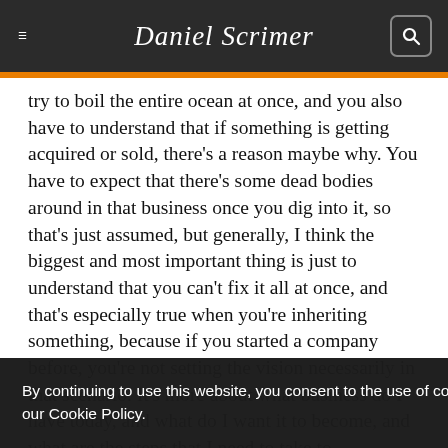Daniel Scrimer
try to boil the entire ocean at once, and you also have to understand that if something is getting acquired or sold, there's a reason maybe why. You have to expect that there's some dead bodies around in that business once you dig into it, so that's just assumed, but generally, I think the biggest and most important thing is just to understand that you can't fix it all at once, and that's especially true when you're inheriting something, because if you started a company before, you're not setting the vision necessarily in that scenario. It's more about what business do I have today, and what do I want it to become, and what are the steps that I need to take to … se things? … t sprints, is … tant.
By continuing to use this website, you consent to the use of cookies in accordance with our Cookie Policy.